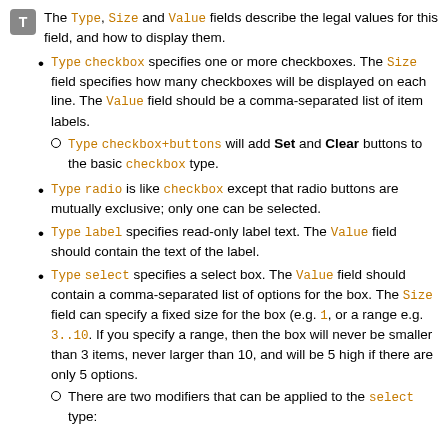The Type, Size and Value fields describe the legal values for this field, and how to display them.
Type checkbox specifies one or more checkboxes. The Size field specifies how many checkboxes will be displayed on each line. The Value field should be a comma-separated list of item labels.
Type checkbox+buttons will add Set and Clear buttons to the basic checkbox type.
Type radio is like checkbox except that radio buttons are mutually exclusive; only one can be selected.
Type label specifies read-only label text. The Value field should contain the text of the label.
Type select specifies a select box. The Value field should contain a comma-separated list of options for the box. The Size field can specify a fixed size for the box (e.g. 1, or a range e.g. 3..10. If you specify a range, then the box will never be smaller than 3 items, never larger than 10, and will be 5 high if there are only 5 options.
There are two modifiers that can be applied to the select type: